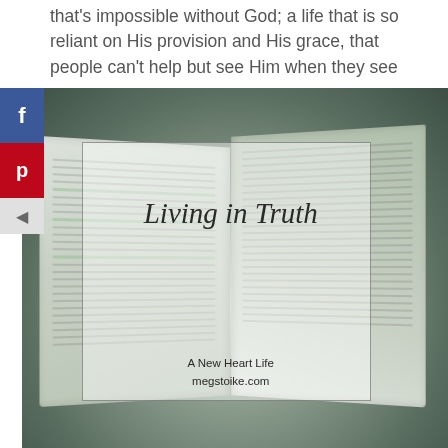that's impossible without God; a life that is so reliant on His provision and His grace, that people can't help but see Him when they see me.
[Figure (photo): Open Bible laying on a surface, photographed from above at a slight angle. Two pages are visible with highlighted text. Overlaid is a semi-transparent white box with a dark border containing the title 'Living in Truth' in italic script, and below 'A New Heart Life megstoike.com'. Social sharing buttons (Facebook, Pinterest) visible on the left side.]